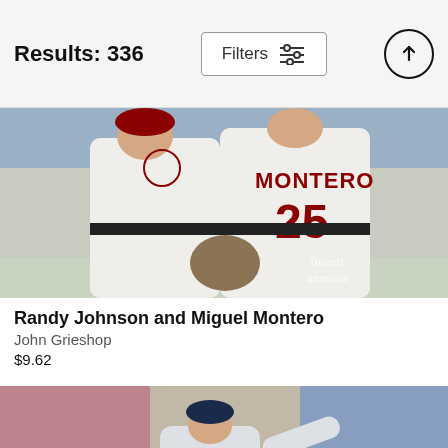Results: 336
Filters
[Figure (photo): Two Arizona Diamondbacks baseball players embracing on the field. Player on right wearing #26 Montero jersey. Watermark: fine art america.]
Randy Johnson and Miguel Montero
John Grieshop
$9.62
[Figure (photo): Tampa Bay Rays pitcher in mid-throw on a baseball field with crowd in background.]